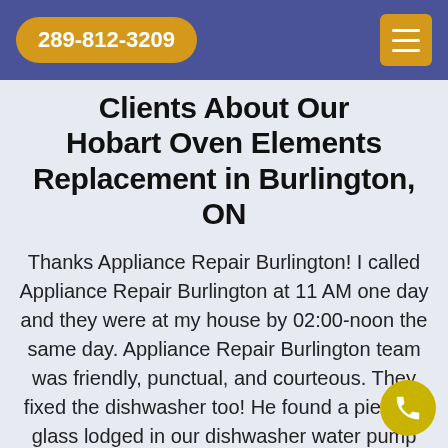289-812-3209
Clients About Our Hobart Oven Elements Replacement in Burlington, ON
Thanks Appliance Repair Burlington! I called Appliance Repair Burlington at 11 AM one day and they were at my house by 02:00-noon the same day. Appliance Repair Burlington team was friendly, punctual, and courteous. They fixed the dishwasher too! He found a piece of glass lodged in our dishwasher water pump and removed it. We were so thankful